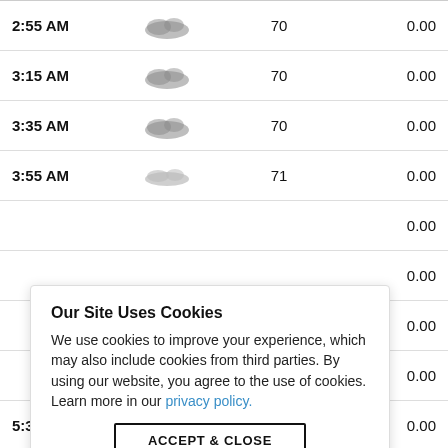| Time | Icon | Value | Precipitation |
| --- | --- | --- | --- |
| 2:55 AM |  | 70 | 0.00 |
| 3:15 AM |  | 70 | 0.00 |
| 3:35 AM |  | 70 | 0.00 |
| 3:55 AM |  | 71 | 0.00 |
|  |  |  | 0.00 |
|  |  |  | 0.00 |
|  |  |  | 0.00 |
|  |  |  | 0.00 |
| 5:35 AM |  | 71 | 0.00 |
Our Site Uses Cookies
We use cookies to improve your experience, which may also include cookies from third parties. By using our website, you agree to the use of cookies. Learn more in our privacy policy.
ACCEPT & CLOSE